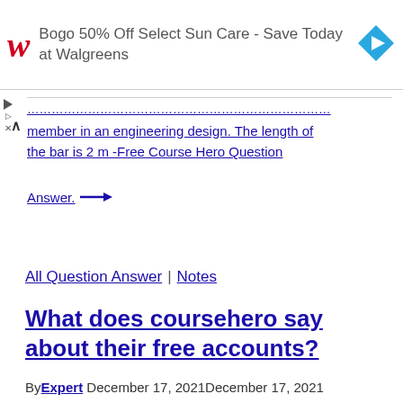[Figure (screenshot): Walgreens advertisement banner: logo, 'Bogo 50% Off Select Sun Care - Save Today at Walgreens', and navigation icon]
member in an engineering design. The length of the bar is 2 m -Free Course Hero Question Answer.
All Question Answer | Notes
What does coursehero say about their free accounts?
By Expert December 17, 2021December 17, 2021